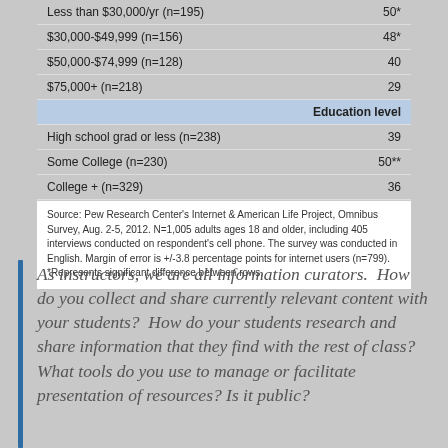|  |  |
| --- | --- |
| Less than $30,000/yr (n=195) | 50* |
| $30,000-$49,999 (n=156) | 48* |
| $50,000-$74,999 (n=128) | 40 |
| $75,000+ (n=218) | 29 |
| Education level |  |
| High school grad or less (n=238) | 39 |
| Some College (n=230) | 50** |
| College + (n=329) | 36 |
Source: Pew Research Center's Internet & American Life Project, Omnibus Survey, Aug. 2-5, 2012. N=1,005 adults ages 18 and older, including 405 interviews conducted on respondent's cell phone. The survey was conducted in English. Margin of error is +/-3.8 percentage points for internet users (n=799). *Represents significant difference between rows.
As instructors, we are all information curators.  How do you collect and share currently relevant content with your students?  How do your students research and share information that they find with the rest of class? What tools do you use to manage or facilitate presentation of resources? Is it public?